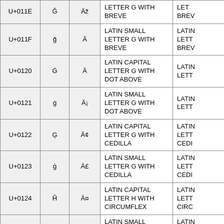| Code | Char | Bytes | Unicode Name | Alt Name |
| --- | --- | --- | --- | --- |
| U+011E | Ğ | Äž | LATIN CAPITAL LETTER G WITH BREVE | LATIN CAPITAL LETTER G WITH BREVE |
| U+011F | ğ | Ä | LATIN SMALL LETTER G WITH BREVE | LATIN SMALL LETTER G WITH BREVE |
| U+0120 | Ġ | Ä  | LATIN CAPITAL LETTER G WITH DOT ABOVE | LATIN CAPITAL LETTER G WITH DOT ABOVE |
| U+0121 | ġ | Ä¡ | LATIN SMALL LETTER G WITH DOT ABOVE | LATIN SMALL LETTER G WITH DOT ABOVE |
| U+0122 | Ģ | Ä¢ | LATIN CAPITAL LETTER G WITH CEDILLA | LATIN CAPITAL LETTER G WITH CEDILLA |
| U+0123 | ģ | Ä£ | LATIN SMALL LETTER G WITH CEDILLA | LATIN SMALL LETTER G WITH CEDILLA |
| U+0124 | Ĥ | Ä¤ | LATIN CAPITAL LETTER H WITH CIRCUMFLEX | LATIN CAPITAL LETTER H WITH CIRCUMFLEX |
| U+0125 | ĥ | Ä¥ | LATIN SMALL LETTER H WITH CIRCUMFLEX | LATIN SMALL LETTER H WITH CIRCUMFLEX |
| U+0126 |  | Ä¦ | LATIN CAPITAL | LATIN |